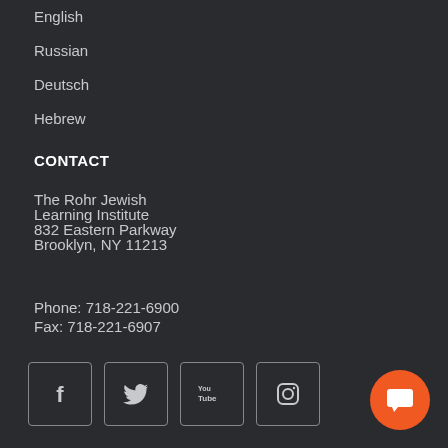English
Russian
Deutsch
Hebrew
CONTACT
The Rohr Jewish
Learning Institute
832 Eastern Parkway
Brooklyn, NY 11213
Phone: 718-221-6900
Fax: 718-221-6907
[Figure (other): Social media icons: Facebook, Twitter, YouTube, Instagram]
[Figure (other): Orange circular chat/messaging button]